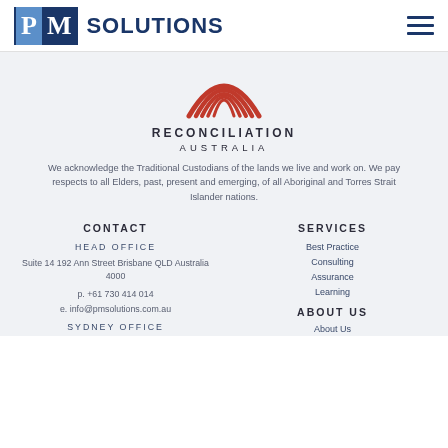[Figure (logo): PM Solutions logo — blue square with P and M letters, followed by bold SOLUTIONS text in dark navy]
[Figure (logo): Reconciliation Australia logo — red arc rainbow icon above RECONCILIATION AUSTRALIA text]
We acknowledge the Traditional Custodians of the lands we live and work on. We pay respects to all Elders, past, present and emerging, of all Aboriginal and Torres Strait Islander nations.
CONTACT
SERVICES
HEAD OFFICE
Best Practice
Suite 14 192 Ann Street Brisbane QLD Australia 4000
Consulting
p. +61 730 414 014
Assurance
e. info@pmsolutions.com.au
Learning
ABOUT US
SYDNEY OFFICE
About Us